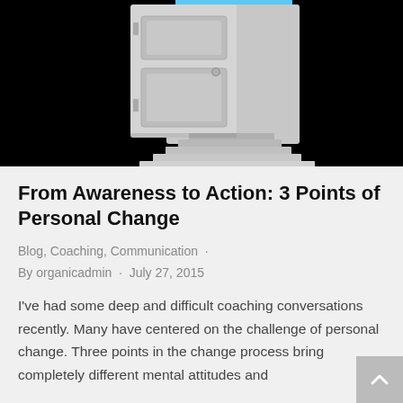[Figure (illustration): An open door with stairs leading up to it, revealing a bright blue sky with clouds and green grass outside, set against a black background — symbolic image of opportunity or change.]
From Awareness to Action: 3 Points of Personal Change
Blog, Coaching, Communication ·
By organicadmin · July 27, 2015
I've had some deep and difficult coaching conversations recently. Many have centered on the challenge of personal change. Three points in the change process bring completely different mental attitudes and...